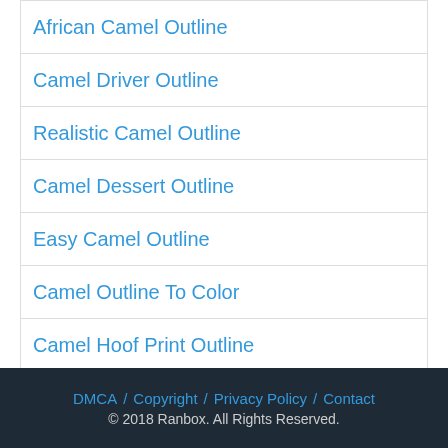African Camel Outline
Camel Driver Outline
Realistic Camel Outline
Camel Dessert Outline
Easy Camel Outline
Camel Outline To Color
Camel Hoof Print Outline
Angry Camel Outline
Egyptian Camel Outline
DMCA / Copyright / Privacy Policy / Contact © 2018 Ranbox. All Rights Reserved.